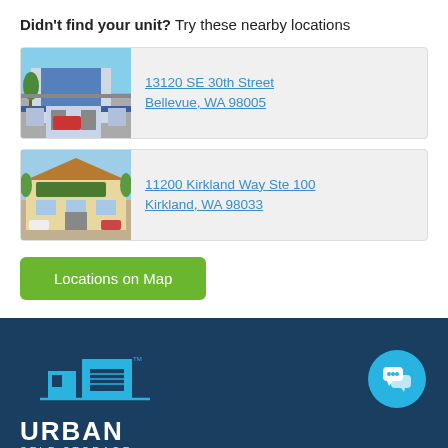Didn't find your unit? Try these nearby locations
13120 SE 30th Street
Bellevue, WA 98005
[Figure (photo): Exterior photo of storage facility building at 13120 SE 30th Street, Bellevue]
11200 Kirkland Way Ste 100
Kirkland, WA 98033
[Figure (photo): Exterior photo of storage facility at 11200 Kirkland Way Ste 100, Kirkland]
Locations on Map
[Figure (logo): Urban Self Storage logo — blue building icon with URBAN SELF STORAGE text in white on dark blue background]
[Figure (illustration): Chat/messaging icon button — cyan circle with speech bubble icons]
[Figure (illustration): App store download badges at bottom]